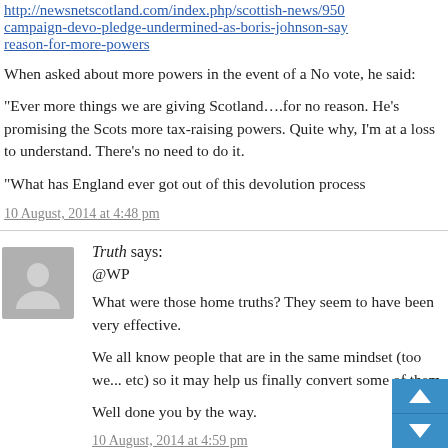http://newsnetscotland.com/index.php/scottish-news/9506-campaign-devo-pledge-undermined-as-boris-johnson-says-no-reason-for-more-powers
When asked about more powers in the event of a No vote, he said:
“Ever more things we are giving Scotland….for no reason. He’s promising the Scots more tax-raising powers. Quite why, I’m at a loss to understand. There’s no need to do it.
“What has England ever got out of this devolution process
10 August, 2014 at 4:48 pm
[Figure (illustration): Anonymous user avatar - grey silhouette of a person on grey background]
Truth says:
@WP
What were those home truths? They seem to have been very effective.
We all know people that are in the same mindset (too we... etc) so it may help us finally convert some of them.
Well done you by the way.
10 August, 2014 at 4:59 pm